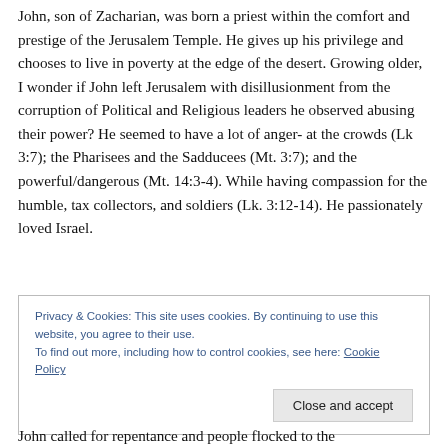John, son of Zacharian, was born a priest within the comfort and prestige of the Jerusalem Temple. He gives up his privilege and chooses to live in poverty at the edge of the desert. Growing older, I wonder if John left Jerusalem with disillusionment from the corruption of Political and Religious leaders he observed abusing their power? He seemed to have a lot of anger- at the crowds (Lk 3:7); the Pharisees and the Sadducees (Mt. 3:7); and the powerful/dangerous (Mt. 14:3-4). While having compassion for the humble, tax collectors, and soldiers (Lk. 3:12-14). He passionately loved Israel.
Privacy & Cookies: This site uses cookies. By continuing to use this website, you agree to their use. To find out more, including how to control cookies, see here: Cookie Policy
John called for repentance and people flocked to the